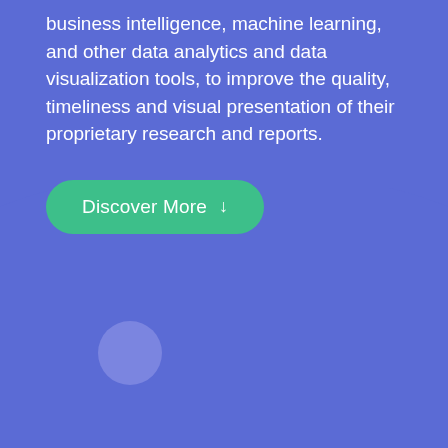business intelligence, machine learning, and other data analytics and data visualization tools, to improve the quality, timeliness and visual presentation of their proprietary research and reports.
[Figure (illustration): A 'Discover More' call-to-action button with green rounded rectangle background and a downward arrow icon, overlaid on a blue background with a large decorative curved/circular shape at the bottom transitioning to white, with a lighter purple circle element.]